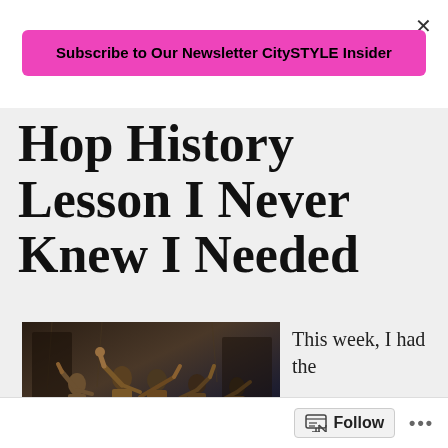×
Subscribe to Our Newsletter CitySTYLE Insider
Hop History Lesson I Never Knew I Needed
[Figure (photo): Stage performance photo showing performers with raised fists in period costumes on a dark theatrical stage, consistent with the Hamilton musical.]
This week, I had the
Follow  ...